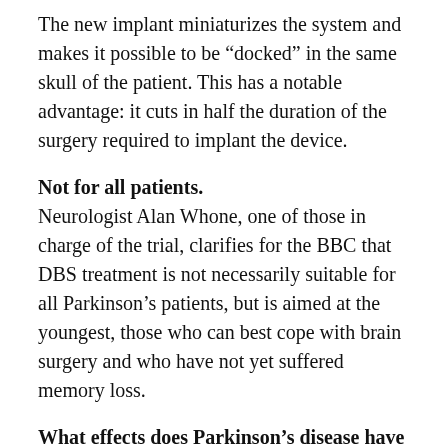The new implant miniaturizes the system and makes it possible to be “docked” in the same skull of the patient. This has a notable advantage: it cuts in half the duration of the surgery required to implant the device.
Not for all patients.
Neurologist Alan Whone, one of those in charge of the trial, clarifies for the BBC that DBS treatment is not necessarily suitable for all Parkinson’s patients, but is aimed at the youngest, those who can best cope with brain surgery and who have not yet suffered memory loss.
What effects does Parkinson’s disease have on